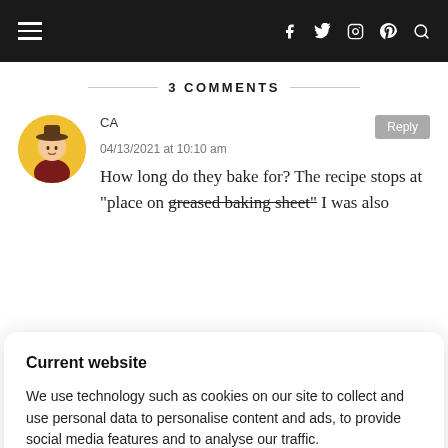Navigation bar with hamburger menu and social icons (f, twitter, instagram, pinterest, search)
3 COMMENTS
[Figure (illustration): Circular avatar with illustrated character wearing a hat, warm yellow background]
CA
04/13/2021 at 10:10 am
How long do they bake for? The recipe stops at "place on greased baking sheet" I was also
Current website

We use technology such as cookies on our site to collect and use personal data to personalise content and ads, to provide social media features and to analyse our traffic.

Do Not Sell My Data    Agree and proceed

Powered by OniConsent